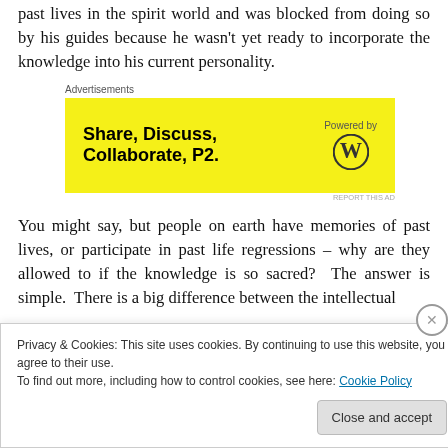past lives in the spirit world and was blocked from doing so by his guides because he wasn't yet ready to incorporate the knowledge into his current personality.
[Figure (other): Advertisement banner: Share, Discuss, Collaborate, P2. Powered by WordPress logo.]
You might say, but people on earth have memories of past lives, or participate in past life regressions – why are they allowed to if the knowledge is so sacred?  The answer is simple.  There is a big difference between the intellectual
Privacy & Cookies: This site uses cookies. By continuing to use this website, you agree to their use.
To find out more, including how to control cookies, see here: Cookie Policy